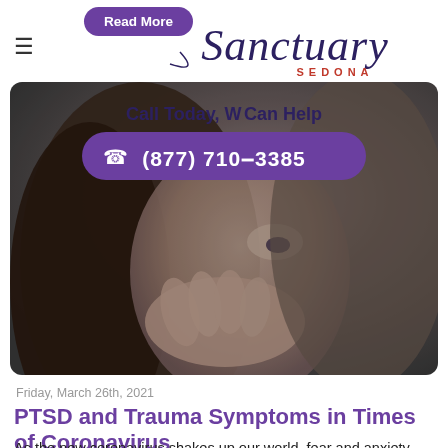Read More
[Figure (logo): Sanctuary Sedona logo with cursive script and SEDONA text]
[Figure (photo): Black and white photo of a distressed woman covering her mouth with her hand, with overlay text 'Call Today, We Can Help' and phone button '(877) 710-3385']
Friday, March 26th, 2021
PTSD and Trauma Symptoms in Times of Coronavirus
As the new coronavirus shakes up our world, fear and anxiety abounds. And as people